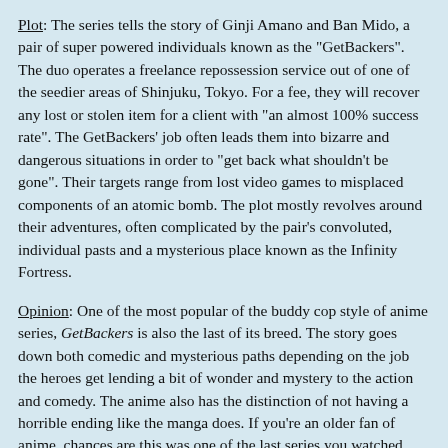Plot: The series tells the story of Ginji Amano and Ban Mido, a pair of super powered individuals known as the "GetBackers". The duo operates a freelance repossession service out of one of the seedier areas of Shinjuku, Tokyo. For a fee, they will recover any lost or stolen item for a client with "an almost 100% success rate". The GetBackers' job often leads them into bizarre and dangerous situations in order to "get back what shouldn't be gone". Their targets range from lost video games to misplaced components of an atomic bomb. The plot mostly revolves around their adventures, often complicated by the pair's convoluted, individual pasts and a mysterious place known as the Infinity Fortress.
Opinion: One of the most popular of the buddy cop style of anime series, GetBackers is also the last of its breed. The story goes down both comedic and mysterious paths depending on the job the heroes get lending a bit of wonder and mystery to the action and comedy. The anime also has the distinction of not having a horrible ending like the manga does. If you're an older fan of anime, chances are this was one of the last series you watched before your interest faded. It's not because of a lack of quality on this series' part. GetBackers is still a lot of fun nowadays.